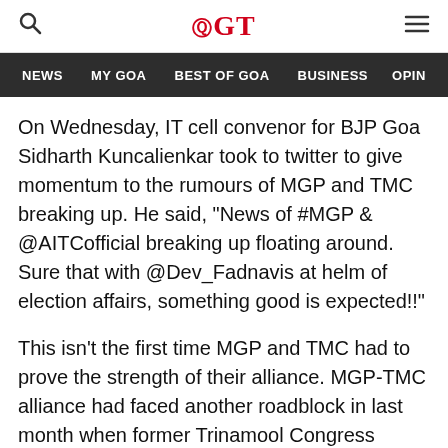GT
NEWS  MY GOA  BEST OF GOA  BUSINESS  OPIN
On Wednesday, IT cell convenor for BJP Goa Sidharth Kuncalienkar took to twitter to give momentum to the rumours of MGP and TMC breaking up. He said, "News of #MGP & @AITCofficial breaking up floating around. Sure that with @Dev_Fadnavis at helm of election affairs, something good is expected!!"
This isn't the first time MGP and TMC had to prove the strength of their alliance. MGP-TMC alliance had faced another roadblock in last month when former Trinamool Congress functionary Lavoo Mamledar, who is currently with Congress, alleged that MGP and TMC formed an alliance behind a deal worth crores. He